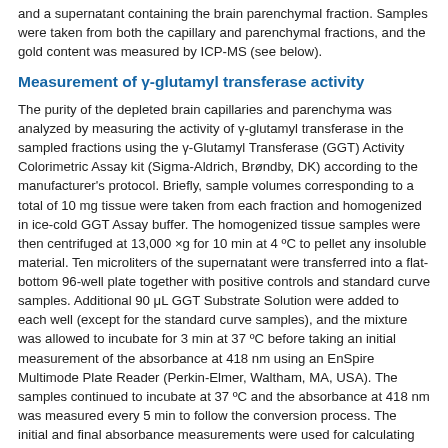and a supernatant containing the brain parenchymal fraction. Samples were taken from both the capillary and parenchymal fractions, and the gold content was measured by ICP-MS (see below).
Measurement of γ-glutamyl transferase activity
The purity of the depleted brain capillaries and parenchyma was analyzed by measuring the activity of γ-glutamyl transferase in the sampled fractions using the γ-Glutamyl Transferase (GGT) Activity Colorimetric Assay kit (Sigma-Aldrich, Brøndby, DK) according to the manufacturer's protocol. Briefly, sample volumes corresponding to a total of 10 mg tissue were taken from each fraction and homogenized in ice-cold GGT Assay buffer. The homogenized tissue samples were then centrifuged at 13,000 ×g for 10 min at 4 ºC to pellet any insoluble material. Ten microliters of the supernatant were transferred into a flat-bottom 96-well plate together with positive controls and standard curve samples. Additional 90 μL GGT Substrate Solution were added to each well (except for the standard curve samples), and the mixture was allowed to incubate for 3 min at 37 ºC before taking an initial measurement of the absorbance at 418 nm using an EnSpire Multimode Plate Reader (Perkin-Elmer, Waltham, MA, USA). The samples continued to incubate at 37 ºC and the absorbance at 418 nm was measured every 5 min to follow the conversion process. The initial and final absorbance measurements were used for calculating the enzyme activity presented as nmol/min/mL.
Inductively-coupled plasma mass spectrometry of tissue and cell samples
Inductively-coupled plasma mass spectrometry (ICP-MS) was used to analyze the gold content of the extracted tissue samples. A maximum of